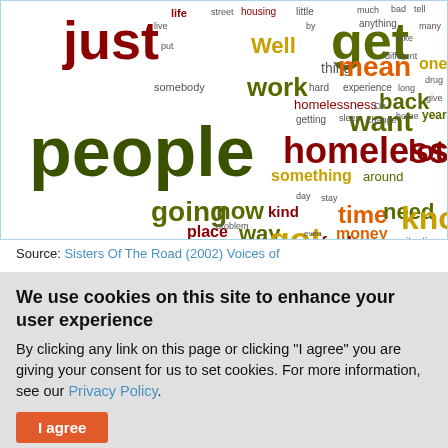[Figure (infographic): Word cloud related to homelessness, featuring words like 'people', 'just', 'get', 'mean', 'homeless', 'want', 'back', 'lot', 'know', 'going', 'now', 'time', 'need', 'things', 'got', 'way', 'money', 'see', 'feel', 'right', 'make', 'Yeah', 'place', 'go', 'job', 'work', 'homelessness', 'something', 'around', 'kind', 'care', 'food', 'family', 'life', 'Well', 'needs', 'housing' in various colors (dark red, olive green, orange, yellow, dark green) and sizes.]
Source: Sisters Of The Road (2002) Voices of
We use cookies on this site to enhance your user experience
By clicking any link on this page or clicking "I agree" you are giving your consent for us to set cookies. For more information, see our Privacy Policy.